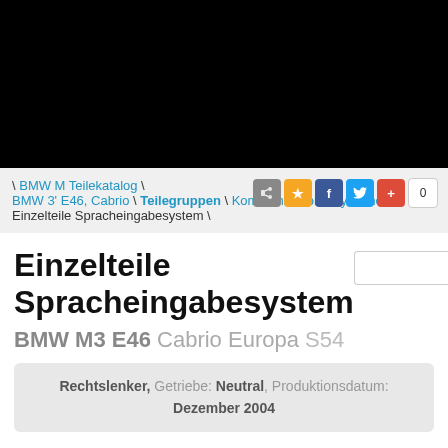[Figure (other): Black header bar at the top of the page]
\ BMW M Teilekatalog \ BMW 3' E46, Cabrio \ Teilegruppen \ Kommunikations-Systeme \ Einzelteile Spracheingabesystem \
Einzelteile Spracheingabesystem
BMW M3 E46 Cabrio Europa S54
Rechtslenker, Getriebe: Neutral, Produktionsdatum: Dezember 2004